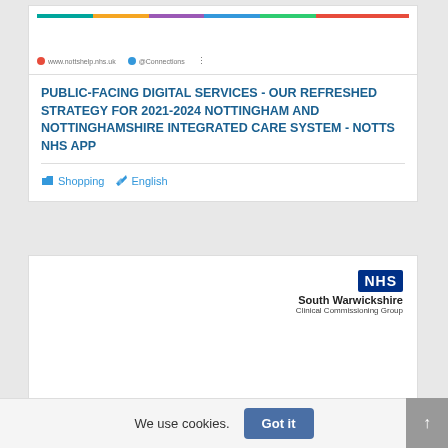[Figure (screenshot): Website header with rainbow colored bar and metadata showing www.nottshelp.nhs.uk and @Connections]
PUBLIC-FACING DIGITAL SERVICES - OUR REFRESHED STRATEGY FOR 2021-2024 NOTTINGHAM AND NOTTINGHAMSHIRE INTEGRATED CARE SYSTEM - NOTTS NHS APP
Shopping  English
[Figure (logo): NHS South Warwickshire Clinical Commissioning Group logo with rainbow bar at bottom]
We use cookies.